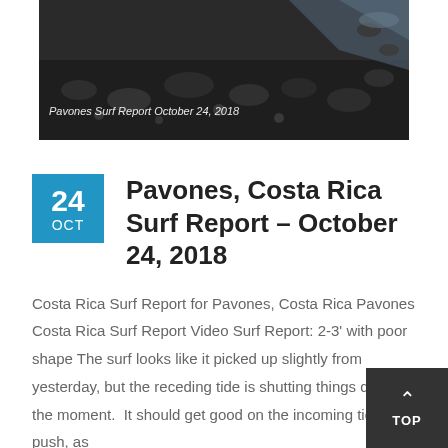[Figure (photo): Beach photo showing dark volcanic sand and rocks at the shoreline with water, captioned 'Pavones Surf Report October 24, 2018']
Pavones Surf Report October 24, 2018
Pavones, Costa Rica Surf Report – October 24, 2018
Costa Rica Surf Report for Pavones, Costa Rica Pavones Costa Rica Surf Report Video Surf Report: 2-3' with poor shape The surf looks like it picked up slightly from yesterday, but the receding tide is shutting things down at the moment.  It should get good on the incoming tidal push, as